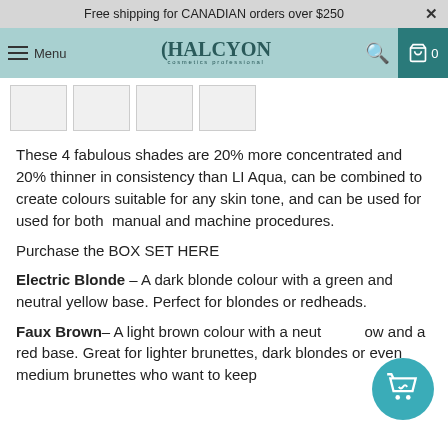Free shipping for CANADIAN orders over $250
[Figure (screenshot): Halcyon Cosmetics Professional navigation bar with menu icon, logo, search and cart icons on teal background]
[Figure (other): Four small product thumbnail images in a strip]
These 4 fabulous shades are 20% more concentrated and 20% thinner in consistency than LI Aqua, can be combined to create colours suitable for any skin tone, and can be used for used for both manual and machine procedures.
Purchase the BOX SET HERE
Electric Blonde – A dark blonde colour with a green and neutral yellow base. Perfect for blondes or redheads.
Faux Brown – A light brown colour with a neutral yellow and a red base. Great for lighter brunettes, dark blondes or even medium brunettes who want to keep